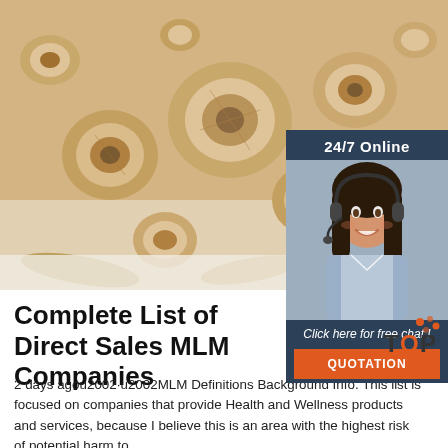[Figure (photo): Close-up photo of dried sliced herbal roots (likely astragalus or similar medicinal herb), light tan/beige color, scattered on white background]
[Figure (infographic): Chat support widget with '24/7 Online' header, photo of smiling woman with headset, 'Click here for free chat!' text, and orange QUOTATION button]
Complete List of Direct Sales MLM Companies
2 days agou2002·u2002MLM Definitions Background Info. This list is focused on companies that provide Health and Wellness products and services, because I believe this is an area with the highest risk of potential harm to
[Figure (logo): TOP logo with orange dots, appears in bottom right corner]